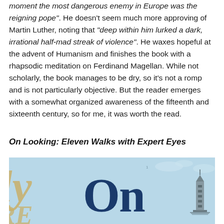moment the most dangerous enemy in Europe was the reigning pope". He doesn't seem much more approving of Martin Luther, noting that "deep within him lurked a dark, irrational half-mad streak of violence". He waxes hopeful at the advent of Humanism and finishes the book with a rhapsodic meditation on Ferdinand Magellan. While not scholarly, the book manages to be dry, so it's not a romp and is not particularly objective. But the reader emerges with a somewhat organized awareness of the fifteenth and sixteenth century, so for me, it was worth the read.
On Looking: Eleven Walks with Expert Eyes
[Figure (photo): Book cover of 'On Looking: Eleven Walks with Expert Eyes' showing a light blue background with large decorative 'On' text in dark navy blue serif font, partial gold/cream decorative lettering on the left, and a tower/lighthouse illustration on the right.]